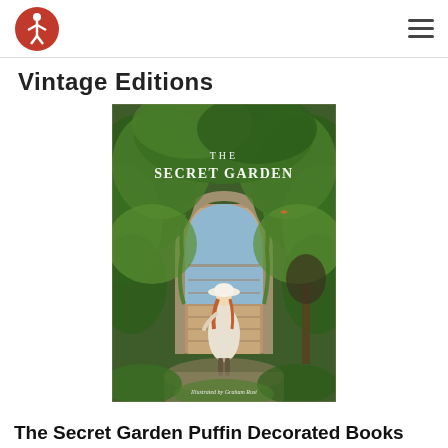Vintage Editions
Vintage Editions
[Figure (illustration): Book cover of The Secret Garden, illustrated by Graham Rust. Shows a girl in a white dress and hat standing before an arched wooden door covered in ivy and green foliage. Title text reads 'THE SECRET GARDEN' in white serif font. Bottom text reads 'Illustrated by Graham Rust'.]
The Secret Garden Puffin Decorated Books